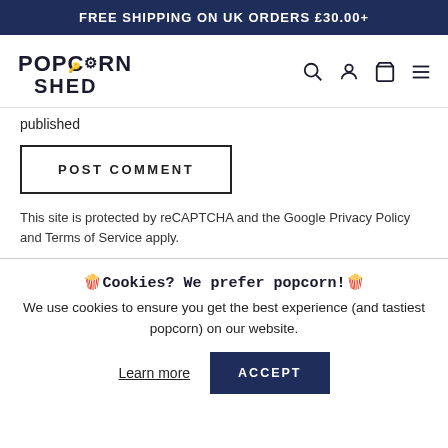FREE SHIPPING ON UK ORDERS £30.00+
[Figure (logo): Popcorn Shed logo with navigation icons (search, account, cart, menu)]
published
POST COMMENT
This site is protected by reCAPTCHA and the Google Privacy Policy and Terms of Service apply.
🍿Cookies? We prefer popcorn!🍿
We use cookies to ensure you get the best experience (and tastiest popcorn) on our website.
Learn more
ACCEPT